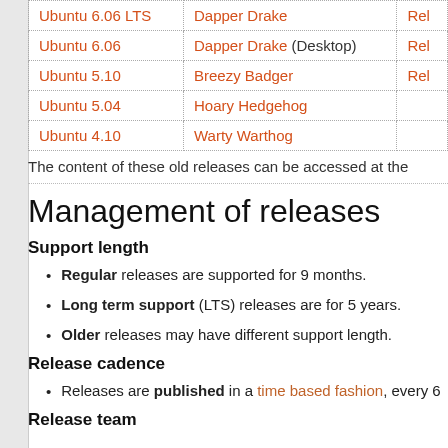| Version | Name | Status |
| --- | --- | --- |
| Ubuntu 6.06 LTS | Dapper Drake | Rel |
| Ubuntu 6.06 | Dapper Drake (Desktop) | Rel |
| Ubuntu 5.10 | Breezy Badger | Rel |
| Ubuntu 5.04 | Hoary Hedgehog |  |
| Ubuntu 4.10 | Warty Warthog |  |
The content of these old releases can be accessed at the
Management of releases
Support length
Regular releases are supported for 9 months.
Long term support (LTS) releases are for 5 years.
Older releases may have different support length.
Release cadence
Releases are published in a time based fashion, every 6
Release team